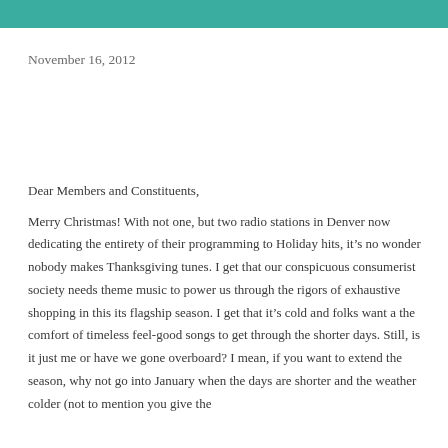November 16, 2012
Dear Members and Constituents,
Merry Christmas! With not one, but two radio stations in Denver now dedicating the entirety of their programming to Holiday hits, it’s no wonder nobody makes Thanksgiving tunes. I get that our conspicuous consumerist society needs theme music to power us through the rigors of exhaustive shopping in this its flagship season. I get that it’s cold and folks want a the comfort of timeless feel-good songs to get through the shorter days. Still, is it just me or have we gone overboard? I mean, if you want to extend the season, why not go into January when the days are shorter and the weather colder (not to mention you give the